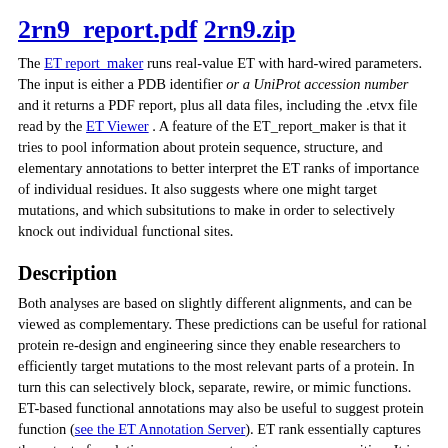2rn9_report.pdf  2rn9.zip
The ET report_maker runs real-value ET with hard-wired parameters. The input is either a PDB identifier or a UniProt accession number and it returns a PDF report, plus all data files, including the .etvx file read by the ET Viewer . A feature of the ET_report_maker is that it tries to pool information about protein sequence, structure, and elementary annotations to better interpret the ET ranks of importance of individual residues. It also suggests where one might target mutations, and which subsitutions to make in order to selectively knock out individual functional sites.
Description
Both analyses are based on slightly different alignments, and can be viewed as complementary. These predictions can be useful for rational protein re-design and engineering since they enable researchers to efficiently target mutations to the most relevant parts of a protein. In turn this can selectively block, separate, rewire, or mimic functions. ET-based functional annotations may also be useful to suggest protein function (see the ET Annotation Server). ET rank essentially captures the extent of evolutionary pressure at a given sequence position. It is obtained by correlating the